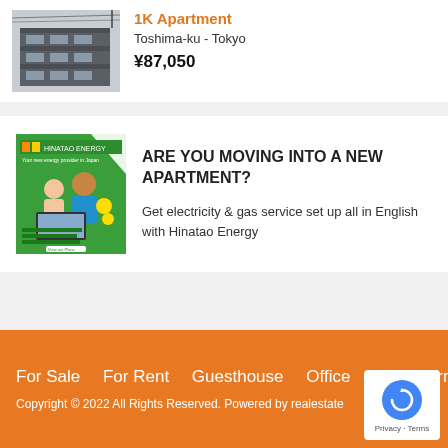1K Apartment
Toshima-ku - Tokyo
¥87,050
[Figure (photo): Exterior photo of an apartment building in Japan, grey facade with balconies and overhead power lines]
[Figure (photo): Hinatao Energy advertisement banner: two people at a laptop with green and orange branding, text 'Your new energy provider in Japan']
ARE YOU MOVING INTO A NEW APARTMENT?
Get electricity & gas service set up all in English with Hinatao Energy
For Sale    For Rent    Guesthouse    Office    Short-Terms    Copyright © 2022 All Rights Reserved. Powered by realestate